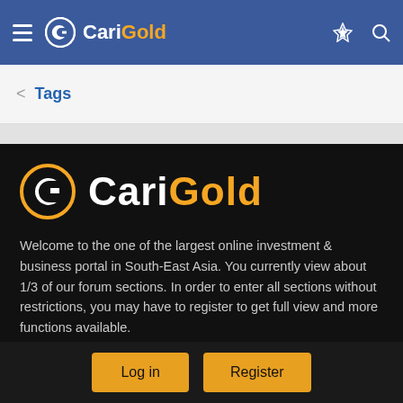CariGold
< Tags
[Figure (logo): CariGold logo — circular G icon in gold/white with CariGold text (Cari white, Gold orange) on dark background]
Welcome to the one of the largest online investment & business portal in South-East Asia. You currently view about 1/3 of our forum sections. In order to enter all sections without restrictions, you may have to register to get full view and more functions available.
Forum statistics